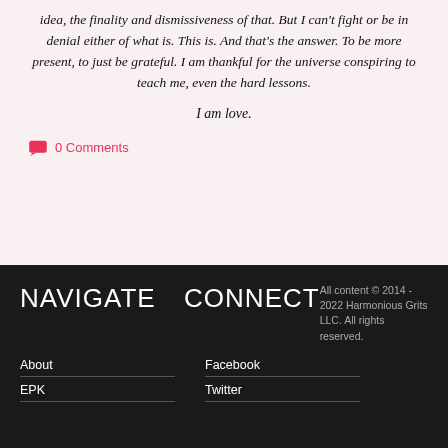idea, the finality and dismissiveness of that. But I can't fight or be in denial either of what is. This is. And that's the answer. To be more present, to just be grateful. I am thankful for the universe conspiring to teach me, even the hard lessons.
I am love.
0 Comments
NAVIGATE  CONNECT
All content © 2014 - 2022 Harmonious Grits LLC. All rights reserved.
About
EPK
Facebook
Twitter